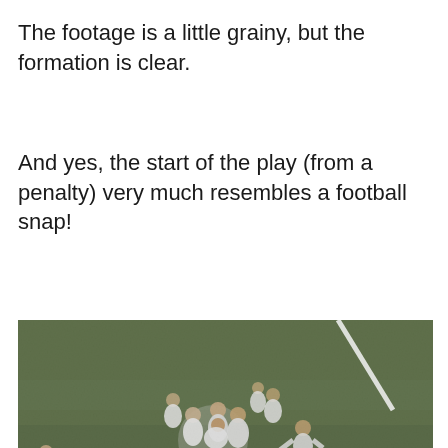The footage is a little grainy, but the formation is clear.
And yes, the start of the play (from a penalty) very much resembles a football snap!
[Figure (photo): Grainy aerial-view video still of a rugby or football play. Multiple players in white uniforms are clustered in the center of a grass field. Players in dark uniforms are visible on the left edge. A white line is visible in the upper right. Bottom of the frame is cut off showing a dark video player bar with a white box area and a small logo on the right.]